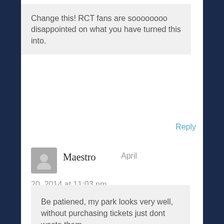Change this! RCT fans are soooooooo disappointed on what you have turned this into.
Reply
[Figure (illustration): Gray avatar/user icon with silhouette head and shoulders]
Maestro
April 20, 2014 at 11:03 pm
Be patiened, my park looks very well, without purchasing tickets just dont waste them.
Reply